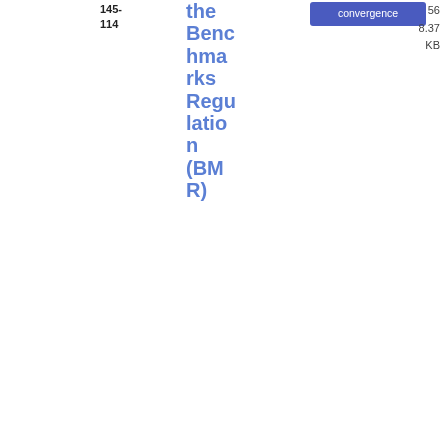| Date | Reference | Title | Topics | Type | File |
| --- | --- | --- | --- | --- | --- |
|  | 145-114 | the Benchmarks Regulation (BMR) | convergence |  | 56
8.37 KB |
| 01/04/2022 | ESMA 32-51-370 | Q&A on ESMA Guidelines on Alternative Performance Measures | Corporate Disclosure
Corporate Information | Q&A | PDF
98
7.02 KB |